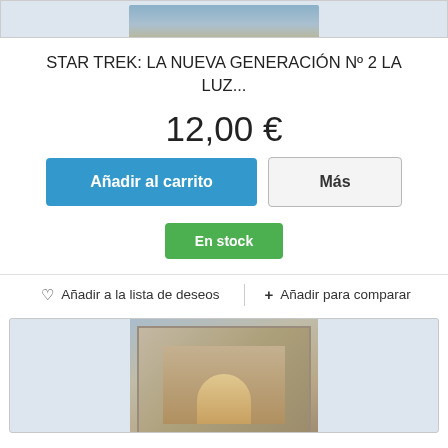[Figure (photo): Top partial product image strip showing bottom of a book cover]
STAR TREK: LA NUEVA GENERACIÓN Nº 2 LA LUZ...
12,00 €
Añadir al carrito
Más
En stock
♡ Añadir a la lista de deseos
+ Añadir para comparar
[Figure (photo): Product image showing a Star Trek book cover with two figures]